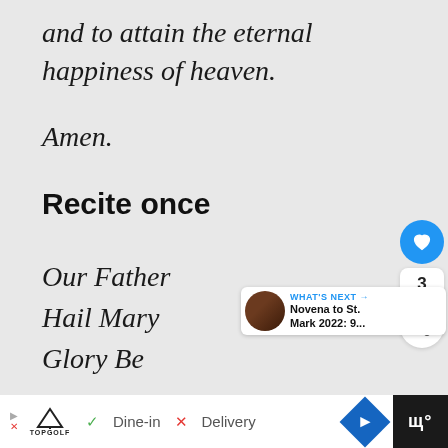and to attain the eternal happiness of heaven.
Amen.
Recite once
Our Father
Hail Mary
Glory Be
[Figure (screenshot): Advertisement bar with Topgolf logo, dine-in and delivery options, navigation arrow icon, and dark panel on right]